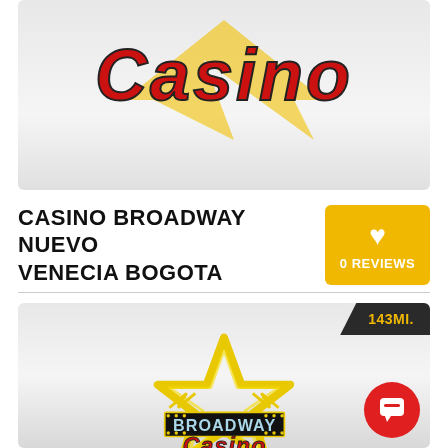[Figure (logo): Casino Broadway logo — red italic 'Casino' text with yellow lightning bolt, on light gray gradient background (top card)]
CASINO BROADWAY NUEVO VENECIA BOGOTA
0 REVIEWS
[Figure (logo): Broadway Casino logo — yellow star outline with 'BROADWAY' text in light blue on dark background with yellow border, and red italic 'Casino' text below, on gray gradient. Distance badge: 143MI. Chat button bottom right.]